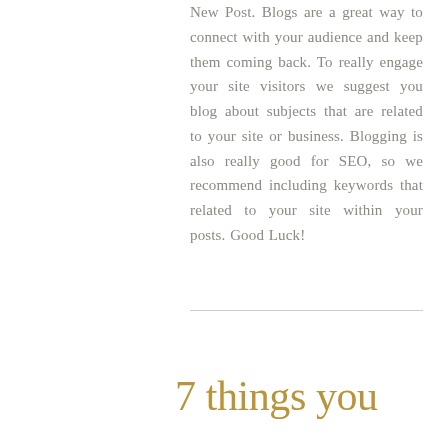New Post. Blogs are a great way to connect with your audience and keep them coming back. To really engage your site visitors we suggest you blog about subjects that are related to your site or business. Blogging is also really good for SEO, so we recommend including keywords that related to your site within your posts. Good Luck!
7 things you